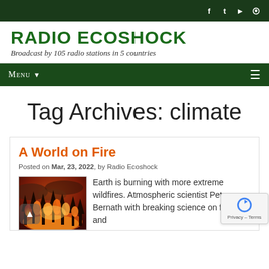Radio Ecoshock — social icons: f, twitter, youtube, rss
RADIO ECOSHOCK
Broadcast by 105 radio stations in 5 countries
Menu ▾
Tag Archives: climate
A World on Fire
Posted on Mar, 23, 2022, by Radio Ecoshock
[Figure (photo): Photo of extreme wildfire with burning trees engulfed in orange and red flames]
Earth is burning with more extreme wildfires. Atmospheric scientist Peter Bernath with breaking science on fires and